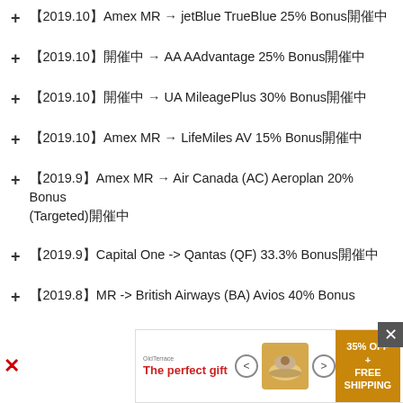【2019.10】Amex MR → jetBlue TrueBlue 25% Bonus開催中
【2019.10】開催中 → AA AAdvantage 25% Bonus開催中
【2019.10】開催中 → UA MileagePlus 30% Bonus開催中
【2019.10】Amex MR → LifeMiles AV 15% Bonus開催中
【2019.9】Amex MR → Air Canada (AC) Aeroplan 20% Bonus (Targeted)開催中
【2019.9】Capital One -> Qantas (QF) 33.3% Bonus開催中
【2019.8】MR -> British Airways (BA) Avios 40% Bonus
[Figure (infographic): Advertisement banner: 'The perfect gift' with food image, navigation arrows, and '35% OFF + FREE SHIPPING' offer in orange]